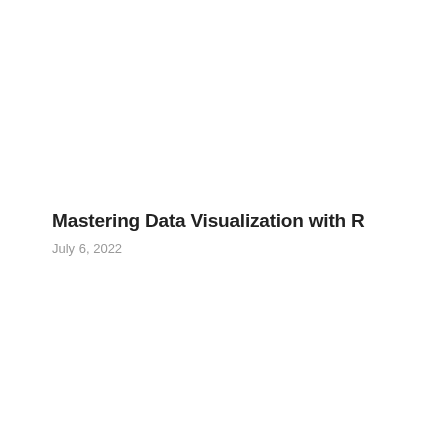Mastering Data Visualization with R
July 6, 2022